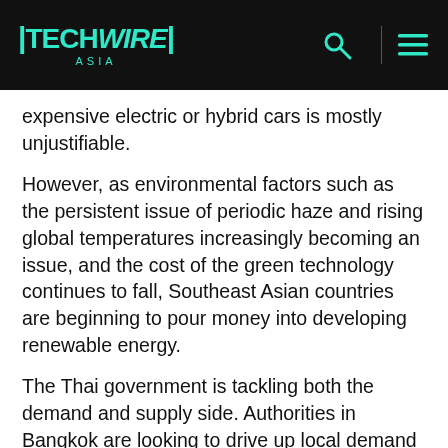TECHWIRE ASIA
expensive electric or hybrid cars is mostly unjustifiable.
However, as environmental factors such as the persistent issue of periodic haze and rising global temperatures increasingly becoming an issue, and the cost of the green technology continues to fall, Southeast Asian countries are beginning to pour money into developing renewable energy.
The Thai government is tackling both the demand and supply side. Authorities in Bangkok are looking to drive up local demand for green technology vehicles with policies. There are plans to slash the 10-30 percent excise tax on vehicles and replace it